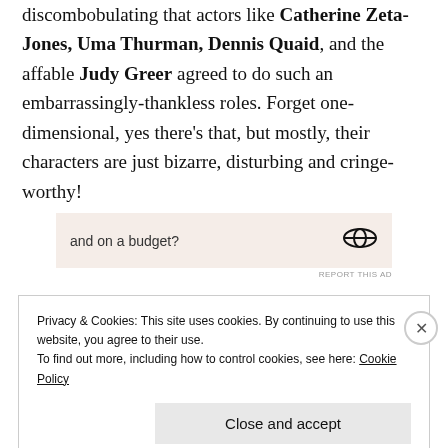discombobulating that actors like Catherine Zeta-Jones, Uma Thurman, Dennis Quaid, and the affable Judy Greer agreed to do such an embarrassingly-thankless roles. Forget one-dimensional, yes there's that, but mostly, their characters are just bizarre, disturbing and cringe-worthy!
[Figure (other): Advertisement banner with text 'and on a budget?' and a logo/icon on the right side, on a light pink background. 'REPORT THIS AD' text below.]
Privacy & Cookies: This site uses cookies. By continuing to use this website, you agree to their use. To find out more, including how to control cookies, see here: Cookie Policy
Close and accept